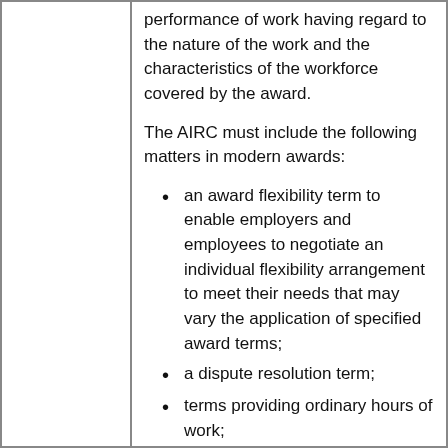performance of work having regard to the nature of the work and the characteristics of the workforce covered by the award.
The AIRC must include the following matters in modern awards:
an award flexibility term to enable employers and employees to negotiate an individual flexibility arrangement to meet their needs that may vary the application of specified award terms;
a dispute resolution term;
terms providing ordinary hours of work;